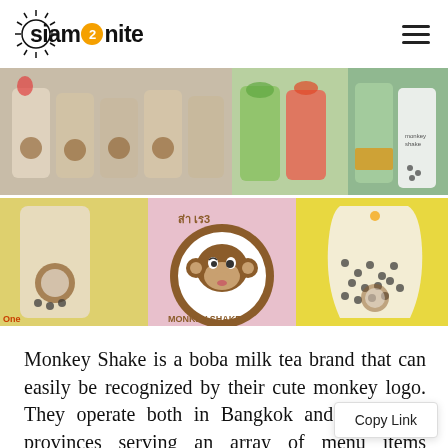siam2nite
[Figure (photo): Photo collage of Monkey Shake boba milk tea drinks. Top row: multiple cups with monkey logo branded cups (milky teas, fruit drinks, green tea, layered drinks). Bottom row: a large cup of boba tea with monkey logo, the Monkey Shake circular logo sign (brown circle with cartoon monkey face, pink background, text 'MONKEY SHAKE'), and a plastic bag/cup with boba pearls on yellow background.]
Monkey Shake is a boba milk tea brand that can easily be recognized by their cute monkey logo. They operate both in Bangkok and in nearby provinces serving an array of menu items including the standard b tea, the caramel milk tea, as well as multiple